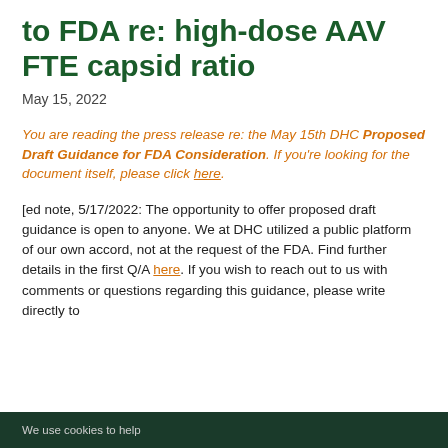to FDA re: high-dose AAV FTE capsid ratio
May 15, 2022
You are reading the press release re: the May 15th DHC Proposed Draft Guidance for FDA Consideration. If you're looking for the document itself, please click here.
[ed note, 5/17/2022: The opportunity to offer proposed draft guidance is open to anyone. We at DHC utilized a public platform of our own accord, not at the request of the FDA. Find further details in the first Q/A here. If you wish to reach out to us with comments or questions regarding this guidance, please write directly to
We use cookies to help